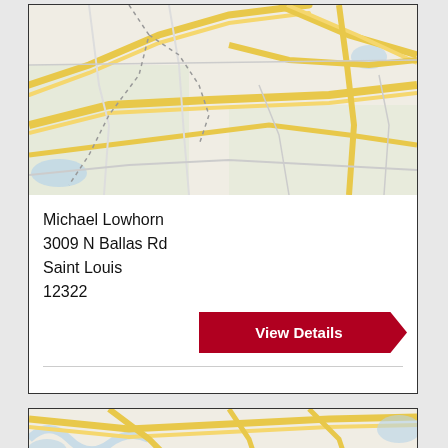[Figure (map): Street map showing road network around Saint Louis area, with yellow/orange major roads on light background]
Michael Lowhorn
3009 N Ballas Rd
Saint Louis
12322
View Details
[Figure (map): Street map showing road network around Saint Louis area, partial view at bottom of page]